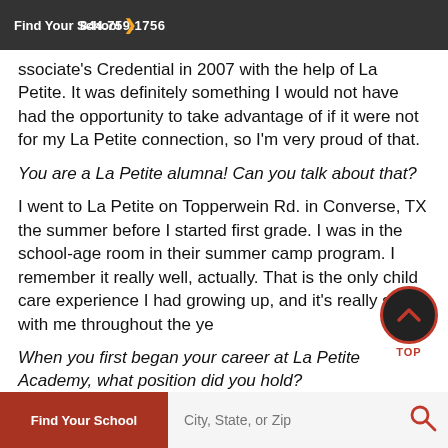844.759.1756   Find Your School
...actually achieved my Child Associate's Credential in 2007 with the help of La Petite. It was definitely something I would not have had the opportunity to take advantage of if it were not for my La Petite connection, so I'm very proud of that.
You are a La Petite alumna! Can you talk about that?
I went to La Petite on Topperwein Rd. in Converse, TX the summer before I started first grade. I was in the school-age room in their summer camp program. I remember it really well, actually. That is the only child care experience I had growing up, and it's really stuck with me throughout the ye...
When you first began your career at La Petite Academy, what position did you hold?
Find Your School   City, State, or Zip